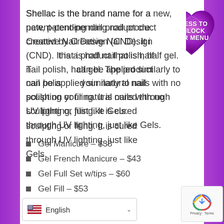Shellac is the brand name for a new, patent-pending nail product created by Creative Nail Design (CND). It is a product that is half nail polish, half gel. The product can be applied similarly to nail polish on your natural nails with no sculpting or filing. It is cured through UV lighting, just like Gels.
[Figure (illustration): Purple diamond heart shape with text 'PRESS TO UNLOCK OUR MENU']
Gel Manicure – $38
Gel French Manicure – $43
Gel Full Set w/tips – $60
Gel Fill – $53
English